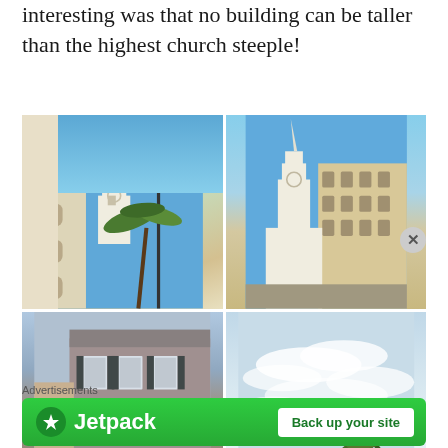interesting was that no building can be taller than the highest church steeple!
[Figure (photo): Grid of four photographs showing church steeples and buildings in Charleston, SC. Top-left: white church steeple with lamp post and palm trees against blue sky. Top-right: white church steeple beside neoclassical building. Bottom-left: grey building with shuttered windows and greenery. Bottom-right: blue sky with clouds and palm tree fronds.]
Advertisements
[Figure (logo): Jetpack advertisement banner with green background, Jetpack logo on left, and 'Back up your site' white button on right.]